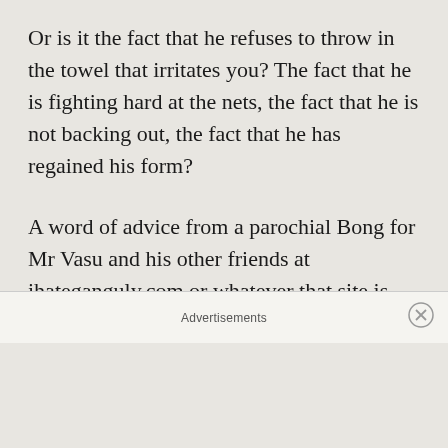Or is it the fact that he refuses to throw in the towel that irritates you? The fact that he is fighting hard at the nets, the fact that he is not backing out, the fact that he has regained his form?
A word of advice from a parochial Bong for Mr Vasu and his other friends at ihateganguly.com or whatever that site is called. Please go to Alipore Zoo and see a Royal Bengal tiger. Old, haggard, underfed
Advertisements